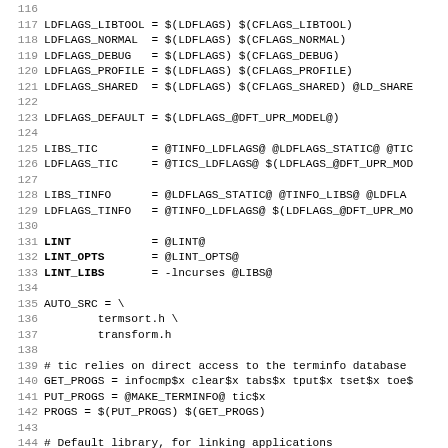Source code / Makefile snippet, lines 116-147
116
117 LDFLAGS_LIBTOOL = $(LDFLAGS) $(CFLAGS_LIBTOOL)
118 LDFLAGS_NORMAL   = $(LDFLAGS) $(CFLAGS_NORMAL)
119 LDFLAGS_DEBUG    = $(LDFLAGS) $(CFLAGS_DEBUG)
120 LDFLAGS_PROFILE  = $(LDFLAGS) $(CFLAGS_PROFILE)
121 LDFLAGS_SHARED   = $(LDFLAGS) $(CFLAGS_SHARED) @LD_SHARE
122
123 LDFLAGS_DEFAULT  = $(LDFLAGS_@DFT_UPR_MODEL@)
124
125 LIBS_TIC         = @TINFO_LDFLAGS@ @LDFLAGS_STATIC@ @TIC
126 LDFLAGS_TIC      = @TICS_LDFLAGS@ $(LDFLAGS_@DFT_UPR_MOD
127
128 LIBS_TINFO       = @LDFLAGS_STATIC@ @TINFO_LIBS@ @LDFLA
129 LDFLAGS_TINFO    = @TINFO_LDFLAGS@ $(LDFLAGS_@DFT_UPR_MO
130
131 LINT             = @LINT@
132 LINT_OPTS        = @LINT_OPTS@
133 LINT_LIBS        = -lncurses @LIBS@
134
135 AUTO_SRC = \
136         termsort.h \
137         transform.h
138
139 # tic relies on direct access to the terminfo database
140 GET_PROGS = infocmp$x clear$x tabs$x tput$x tset$x toe$
141 PUT_PROGS = @MAKE_TERMINFO@ tic$x
142 PROGS = $(PUT_PROGS) $(GET_PROGS)
143
144 # Default library, for linking applications
145 DEPS_CURSES = ../lib/@LIB_PREFIX@ncurses@DFT_DEP_SUFFI
146
147 HEADER_DEPS      = \